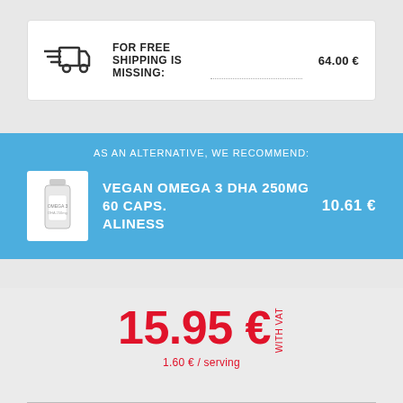FOR FREE SHIPPING IS MISSING: 64.00 €
AS AN ALTERNATIVE, WE RECOMMEND:
VEGAN OMEGA 3 DHA 250MG 60 CAPS. ALINESS 10.61 €
15.95 € With VAT
1.60 € / serving